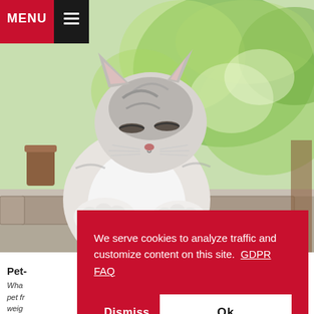MENU ☰
[Figure (photo): A fluffy grey and white cat sitting on a stone ledge outdoors, eyes half-closed, with a blurred green garden background.]
Pet- ... What ... pet fr... weig... enjoy... Palm... pet-f...
We serve cookies to analyze traffic and customize content on this site. GDPR FAQ
Dismiss
Ok